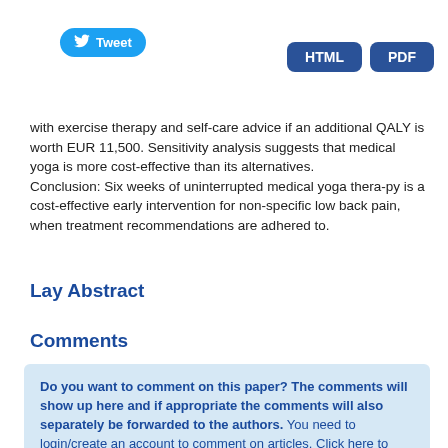[Figure (screenshot): Tweet button (blue rounded rectangle with Twitter bird icon)]
[Figure (screenshot): HTML and PDF buttons (dark blue rounded rectangles)]
with exercise therapy and self-care advice if an additional QALY is worth EUR 11,500. Sensitivity analysis suggests that medical yoga is more cost-effective than its alternatives. Conclusion: Six weeks of uninterrupted medical yoga thera-py is a cost-effective early intervention for non-specific low back pain, when treatment recommendations are adhered to.
Lay Abstract
Comments
Do you want to comment on this paper? The comments will show up here and if appropriate the comments will also separately be forwarded to the authors. You need to login/create an account to comment on articles. Click here to login/create an account.